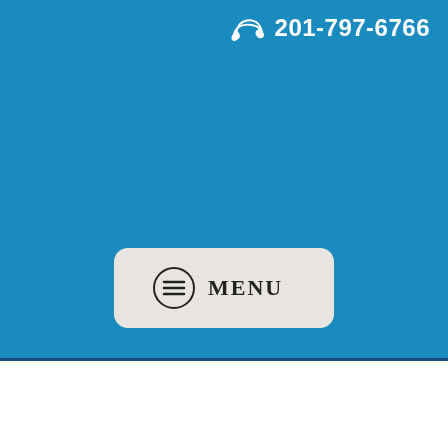201-797-6766
[Figure (screenshot): Blue header background with phone icon and number, and a menu button with hamburger icon]
☎ Bravo Limo&Bus Services > Blog > The Limousine